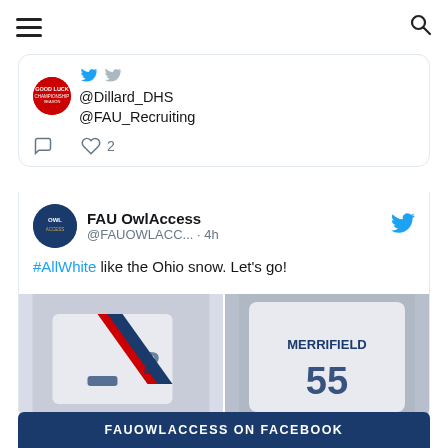Navigation bar with menu and search icons
[Figure (screenshot): Partial tweet showing @Dillard_DHS @FAU_Recruiting handles with a 'Good Luck' circular badge avatar and Twitter bird icons, with comment and 2 likes action bar]
[Figure (screenshot): FAU OwlAccess tweet: '@FAUOWLACC... · 4h — #AllWhite like the Ohio snow. Let's go!' with two photos of white FAU football uniforms, one showing MERRIFIELD on the back]
FAUOWLACCESS ON FACEBOOK